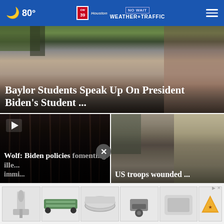80° | CW39 Houston | No Wait Weather+Traffic
[Figure (screenshot): Hero image showing Baylor students outdoors, partial lower body view, green lawn and vehicles in background]
Baylor Students Speak Up On President Biden's Student ...
[Figure (screenshot): Dark curtain/stage background with video play button overlay]
Wolf: Biden policies fomenting illegal immi...
[Figure (screenshot): Outdoor scene showing people and a worker in yellow vest and white helmet handling debris]
US troops wounded ...
[Figure (screenshot): Advertisement banner showing various auto parts and accessories including a hitch, LED lights, and other items]